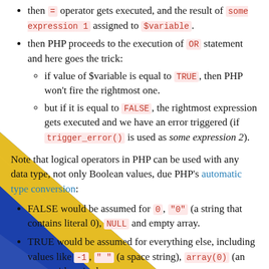then = operator gets executed, and the result of some expression 1 assigned to $variable.
then PHP proceeds to the execution of OR statement and here goes the trick:
if value of $variable is equal to TRUE, then PHP won't fire the rightmost one.
but if it is equal to FALSE, the rightmost expression gets executed and we have an error triggered (if trigger_error() is used as some expression 2).
Note that logical operators in PHP can be used with any data type, not only Boolean values, due PHP's automatic type conversion:
FALSE would be assumed for 0, "0" (a string that contains literal 0), NULL and empty array.
TRUE would be assumed for everything else, including values like -1, " " (a space string), array(0) (an array with a single
[Figure (illustration): Diagonal blue and yellow stripes overlaying the lower-left portion of the page, resembling a Ukrainian flag motif.]